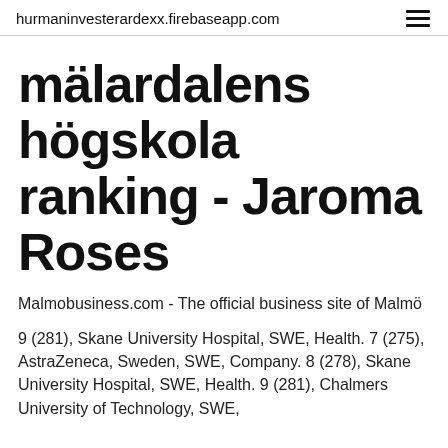hurmaninvesterardexx.firebaseapp.com
mälardalens högskola ranking - Jaroma Roses
Malmobusiness.com - The official business site of Malmö
9 (281), Skane University Hospital, SWE, Health. 7 (275), AstraZeneca, Sweden, SWE, Company. 8 (278), Skane University Hospital, SWE, Health. 9 (281), Chalmers University of Technology, SWE,